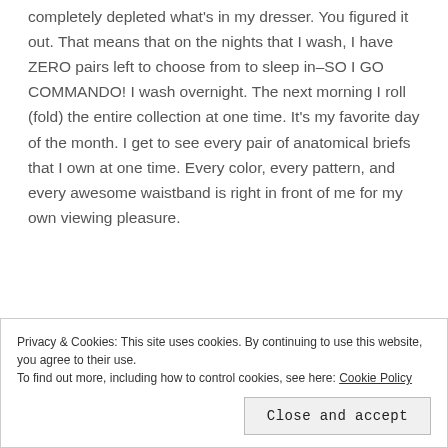the bag. I don't wash the contents of the bag until I have completely depleted what's in my dresser. You figured it out. That means that on the nights that I wash, I have ZERO pairs left to choose from to sleep in–SO I GO COMMANDO! I wash overnight. The next morning I roll (fold) the entire collection at one time. It's my favorite day of the month. I get to see every pair of anatomical briefs that I own at one time. Every color, every pattern, and every awesome waistband is right in front of me for my own viewing pleasure.
This third and final step has been crucial to lengthening
Privacy & Cookies: This site uses cookies. By continuing to use this website, you agree to their use.
To find out more, including how to control cookies, see here: Cookie Policy